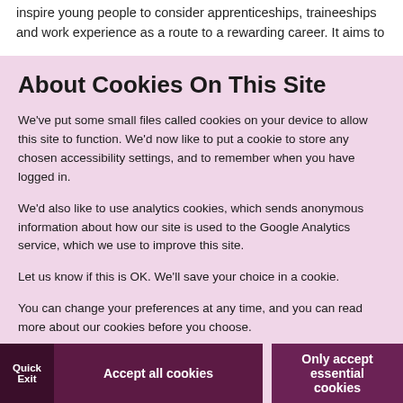inspire young people to consider apprenticeships, traineeships and work experience as a route to a rewarding career. It aims to
About Cookies On This Site
We've put some small files called cookies on your device to allow this site to function. We'd now like to put a cookie to store any chosen accessibility settings, and to remember when you have logged in.
We'd also like to use analytics cookies, which sends anonymous information about how our site is used to the Google Analytics service, which we use to improve this site.
Let us know if this is OK. We'll save your choice in a cookie.
You can change your preferences at any time, and you can read more about our cookies before you choose.